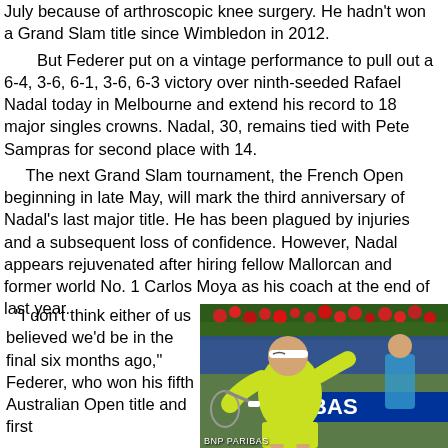July because of arthroscopic knee surgery. He hadn't won a Grand Slam title since Wimbledon in 2012.
But Federer put on a vintage performance to pull out a 6-4, 3-6, 6-1, 3-6, 6-3 victory over ninth-seeded Rafael Nadal today in Melbourne and extend his record to 18 major singles crowns. Nadal, 30, remains tied with Pete Sampras for second place with 14.
The next Grand Slam tournament, the French Open beginning in late May, will mark the third anniversary of Nadal's last major title. He has been plagued by injuries and a subsequent loss of confidence. However, Nadal appears rejuvenated after hiring fellow Mallorcan and former world No. 1 Carlos Moya as his coach at the end of last year.
"I don't think either of us believed we'd be in the final six months ago," Federer, who won his fifth Australian Open title and first
[Figure (photo): A tennis player in a yellow-green shirt and white headband hitting a shot on a court with BNP Paribas signage and red flowers in the background. Caption reads BNP PARIBAS.]